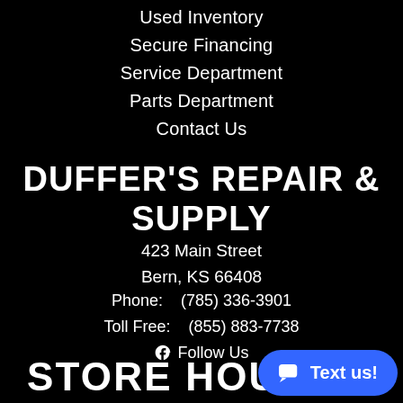Used Inventory
Secure Financing
Service Department
Parts Department
Contact Us
DUFFER'S REPAIR & SUPPLY
423 Main Street
Bern, KS 66408
Phone:    (785) 336-3901
Toll Free:    (855) 883-7738
[Facebook] Follow Us
STORE HOURS